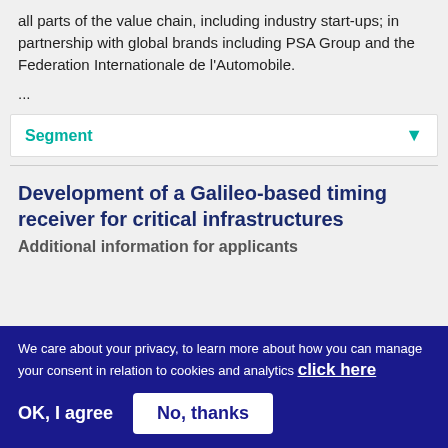all parts of the value chain, including industry start-ups; in partnership with global brands including PSA Group and the Federation Internationale de l'Automobile.
...
Segment
Development of a Galileo-based timing receiver for critical infrastructures
Additional information for applicants
We care about your privacy, to learn more about how you can manage your consent in relation to cookies and analytics click here
OK, I agree   No, thanks